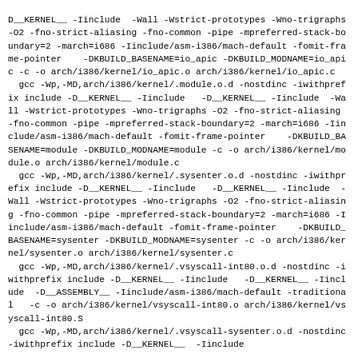D__KERNEL__ -Iinclude  -Wall -Wstrict-prototypes -Wno-trigraphs -O2 -fno-strict-aliasing -fno-common -pipe -mpreferred-stack-boundary=2 -march=i686 -Iinclude/asm-i386/mach-default -fomit-frame-pointer    -DKBUILD_BASENAME=io_apic -DKBUILD_MODNAME=io_apic -c -o arch/i386/kernel/io_apic.o arch/i386/kernel/io_apic.c
  gcc -Wp,-MD,arch/i386/kernel/.module.o.d -nostdinc -iwithprefix include -D__KERNEL__ -Iinclude   -D__KERNEL__ -Iinclude  -Wall -Wstrict-prototypes -Wno-trigraphs -O2 -fno-strict-aliasing -fno-common -pipe -mpreferred-stack-boundary=2 -march=i686 -Iinclude/asm-i386/mach-default -fomit-frame-pointer    -DKBUILD_BASENAME=module -DKBUILD_MODNAME=module -c -o arch/i386/kernel/module.o arch/i386/kernel/module.c
  gcc -Wp,-MD,arch/i386/kernel/.sysenter.o.d -nostdinc -iwithprefix include -D__KERNEL__ -Iinclude   -D__KERNEL__ -Iinclude  -Wall -Wstrict-prototypes -Wno-trigraphs -O2 -fno-strict-aliasing -fno-common -pipe -mpreferred-stack-boundary=2 -march=i686 -Iinclude/asm-i386/mach-default -fomit-frame-pointer    -DKBUILD_BASENAME=sysenter -DKBUILD_MODNAME=sysenter -c -o arch/i386/kernel/sysenter.o arch/i386/kernel/sysenter.c
  gcc -Wp,-MD,arch/i386/kernel/.vsyscall-int80.o.d -nostdinc -iwithprefix include -D__KERNEL__ -Iinclude   -D__KERNEL__ -Iinclude  -D__ASSEMBLY__ -Iinclude/asm-i386/mach-default -traditional   -c -o arch/i386/kernel/vsyscall-int80.o arch/i386/kernel/vsyscall-int80.S
  gcc -Wp,-MD,arch/i386/kernel/.vsyscall-sysenter.o.d -nostdinc -iwithprefix include -D__KERNEL__ -Iinclude